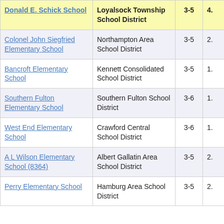| School | District | Grades |  |
| --- | --- | --- | --- |
| Donald E. Schick School | Loyalsock Township School District | 3-5 | 4. |
| Colonel John Siegfried Elementary School | Northampton Area School District | 3-5 | 2. |
| Bancroft Elementary School | Kennett Consolidated School District | 3-5 | 1. |
| Southern Fulton Elementary School | Southern Fulton School District | 3-6 | 1. |
| West End Elementary School | Crawford Central School District | 3-6 | 1. |
| A L Wilson Elementary School (8364) | Albert Gallatin Area School District | 3-5 | 2. |
| Perry Elementary School | Hamburg Area School District | 3-5 | 2. |